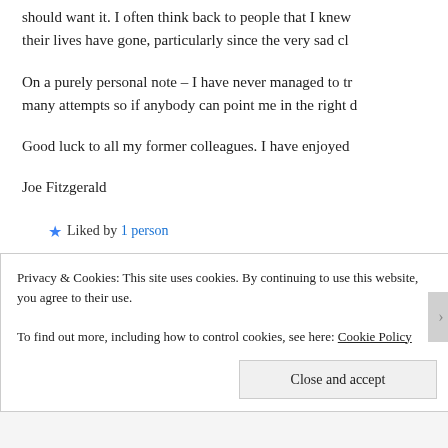should want it. I often think back to people that I knew their lives have gone, particularly since the very sad cl
On a purely personal note – I have never managed to tr many attempts so if anybody can point me in the right d
Good luck to all my former colleagues. I have enjoyed
Joe Fitzgerald
★ Liked by 1 person
Reply
Bernard Whitfield says:
Privacy & Cookies: This site uses cookies. By continuing to use this website, you agree to their use.
To find out more, including how to control cookies, see here: Cookie Policy
Close and accept